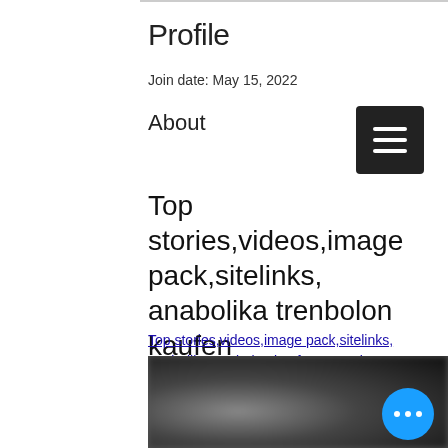Profile
Join date: May 15, 2022
About
Top stories,videos,image pack,sitelinks, anabolika trenbolon kaufen
Top stories,videos,image pack,sitelinks, anabolika trenbolon kaufen - Legale steroide zum verkauf
[Figure (photo): Blurred dark image at the bottom of the page]